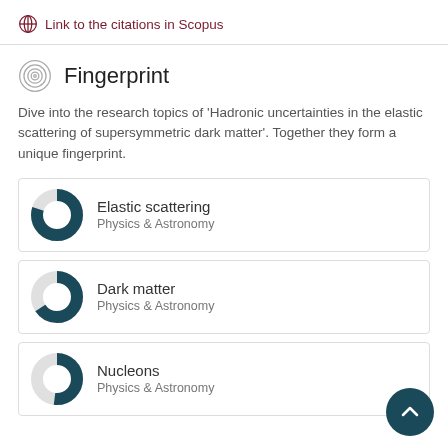Link to the citations in Scopus
Fingerprint
Dive into the research topics of 'Hadronic uncertainties in the elastic scattering of supersymmetric dark matter'. Together they form a unique fingerprint.
[Figure (infographic): Donut chart for Elastic scattering, Physics & Astronomy]
[Figure (infographic): Donut chart for Dark matter, Physics & Astronomy]
[Figure (infographic): Donut chart for Nucleons, Physics & Astronomy]